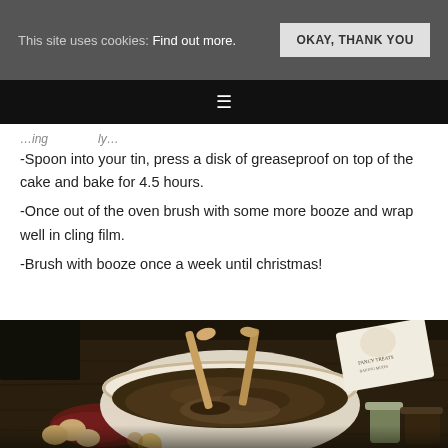This site uses cookies: Find out more. | OKAY, THANK YOU
-Spoon into your tin, press a disk of greaseproof on top of the cake and bake for 4.5 hours.
-Once out of the oven brush with some more booze and wrap well in cling film.
-Brush with booze once a week until christmas!
[Figure (photo): Overhead photo of a large mixing bowl with dark fruit cake batter being stirred with wooden spoons, surrounded by eggs, a red cloth, baking ingredients, jars, and a recipe card on a rustic wooden surface.]